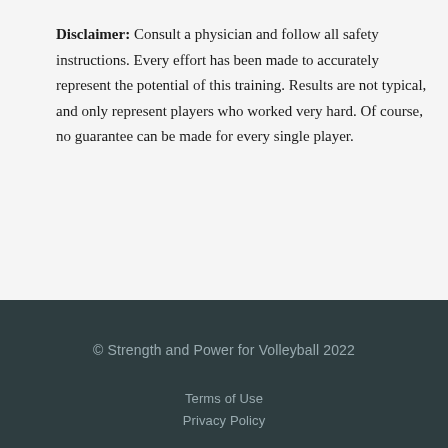Disclaimer: Consult a physician and follow all safety instructions. Every effort has been made to accurately represent the potential of this training. Results are not typical, and only represent players who worked very hard. Of course, no guarantee can be made for every single player.
© Strength and Power for Volleyball 2022
Terms of Use
Privacy Policy